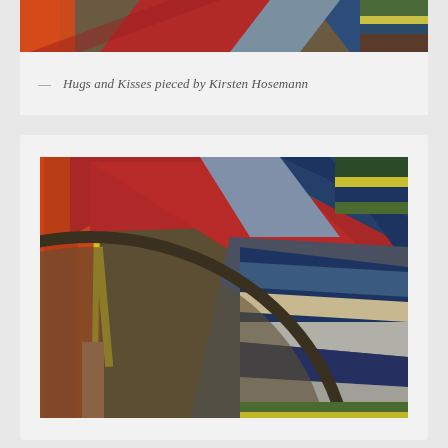[Figure (photo): Partial view of a colorful quilt with red, orange, blue, brown, and striped fabric pieces at the top of the page, partially cropped]
— Hugs and Kisses pieced by Kirsten Hosemann
[Figure (photo): Close-up detail of a quilt showing bold curved and diagonal strips of fabric in orange, red, yellow, dark brown/khaki, blue, gray, and multicolor striped fabrics arranged in a fan or log cabin pattern]